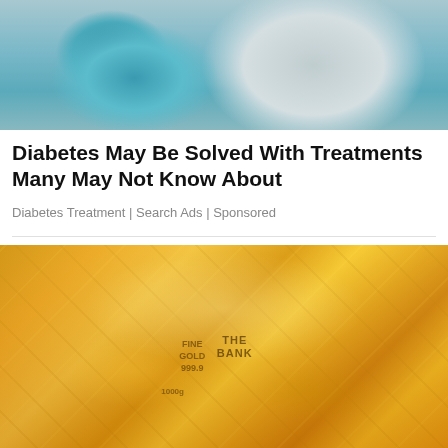[Figure (illustration): Cartoon illustration of a person lying in bed, appearing unwell, with blue bedding. Another figure or object visible to the right with grey/white tones. Medical/health themed illustration.]
Diabetes May Be Solved With Treatments Many May Not Know About
Diabetes Treatment | Search Ads | Sponsored
[Figure (photo): Photograph of stacked gold bars/bullion with text markings including 'THE BANK', 'FINE GOLD 999.9', and weight markings. Gold bars are shiny and reflective, arranged in rows.]
Gold Rate In Pakistan Today 29 August 2022